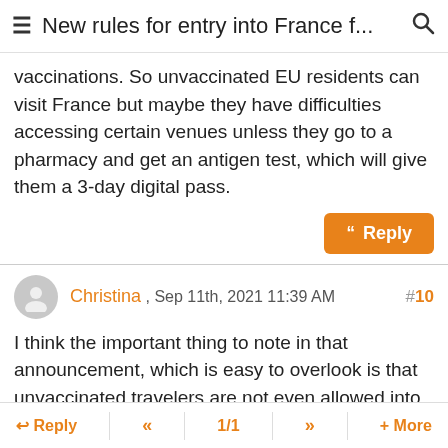≡ New rules for entry into France f... 🔍
vaccinations. So unvaccinated EU residents can visit France but maybe they have difficulties accessing certain venues unless they go to a pharmacy and get an antigen test, which will give them a 3-day digital pass.
Christina , Sep 11th, 2021 11:39 AM #10
I think the important thing to note in that announcement, which is easy to overlook is that unvaccinated travelers are not even allowed into France now just for tourism, there had to be a compelling essential reason.
The US Embassy in the US announced this on Twitter and said unvaccinated tourists from the US are not allowed. That's what being on the orange list means, that you have to
↩ Reply  «  1/1  »  + More